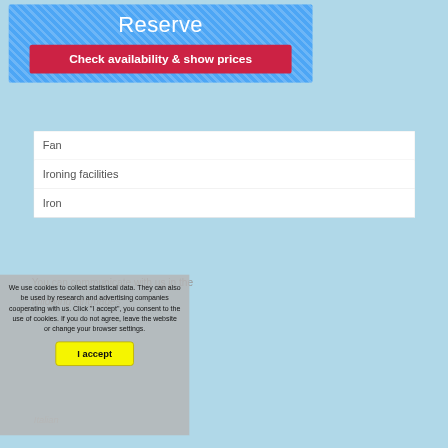Reserve
Check availability & show prices
Fan
Ironing facilities
Iron
You can communicate with us in the following languages
We use cookies to collect statistical data. They can also be used by research and advertising companies cooperating with us. Click "I accept", you consent to the use of cookies. If you do not agree, leave the website or change your browser settings.
Italian
I accept